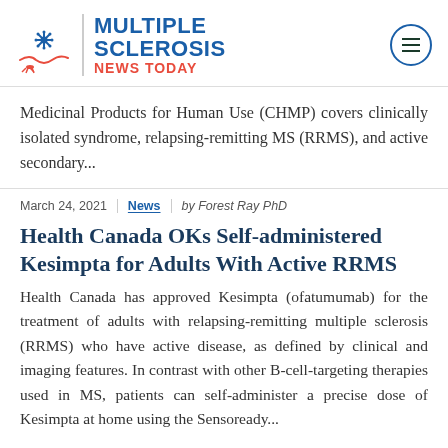[Figure (logo): Multiple Sclerosis News Today logo with snowflake icon and hamburger menu button]
Medicinal Products for Human Use (CHMP) covers clinically isolated syndrome, relapsing-remitting MS (RRMS), and active secondary...
March 24, 2021 | News | by Forest Ray PhD
Health Canada OKs Self-administered Kesimpta for Adults With Active RRMS
Health Canada has approved Kesimpta (ofatumumab) for the treatment of adults with relapsing-remitting multiple sclerosis (RRMS) who have active disease, as defined by clinical and imaging features. In contrast with other B-cell-targeting therapies used in MS, patients can self-administer a precise dose of Kesimpta at home using the Sensoready...